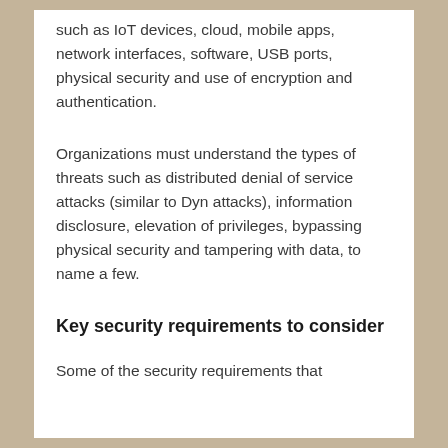such as IoT devices, cloud, mobile apps, network interfaces, software, USB ports, physical security and use of encryption and authentication.
Organizations must understand the types of threats such as distributed denial of service attacks (similar to Dyn attacks), information disclosure, elevation of privileges, bypassing physical security and tampering with data, to name a few.
Key security requirements to consider
Some of the security requirements that